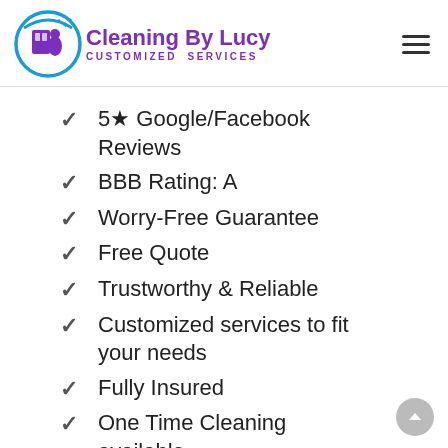[Figure (logo): Cleaning By Lucy logo with circular blue icon featuring a cleaning person, purple brand name text 'Cleaning By Lucy' and subtitle 'CUSTOMIZED SERVICES']
5★ Google/Facebook Reviews
BBB Rating: A
Worry-Free Guarantee
Free Quote
Trustworthy & Reliable
Customized services to fit your needs
Fully Insured
One Time Cleaning available